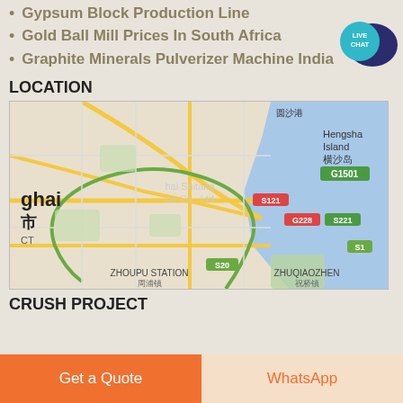Gypsum Block Production Line
Gold Ball Mill Prices In South Africa
Graphite Minerals Pulverizer Machine India
[Figure (other): Live Chat speech bubble icon in teal/dark blue]
LOCATION
[Figure (map): Google Maps showing Shanghai area, including Hengsha Island, Zhoupu Station, Zhuqiaozhen, roads G1501, S121, G228, S221, S1, S20, with watermark Shanghai Shitang Mine Co., Ltd]
CRUSH PROJECT
Get a Quote
WhatsApp